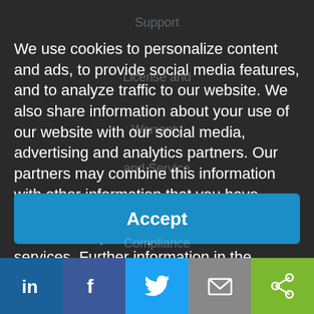Support (faint background)
We use cookies to personalize content and ads, to provide social media features, and to analyze traffic to our website. We also share information about your use of our website with our social media, advertising and analytics partners. Our partners may combine this information with other information that you have provided to them or that they have collected as part of your use of the services. Further information in the Privacy policy.
Terms of Sale (faint background)
Privacy Policy (faint background)
Cookie Policy (faint background)
Accept (button)
Compliance (faint background)
[Figure (infographic): Social sharing bar with LinkedIn, Facebook, Twitter, Email, and Share buttons]